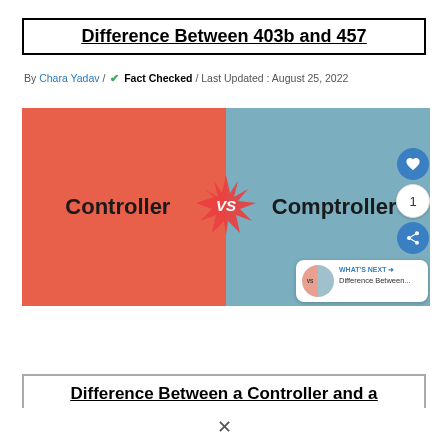Difference Between 403b and 457
By Chara Yadav / ✔ Fact Checked / Last Updated : August 25, 2022
[Figure (illustration): Split image showing Controller on the left (red/orange background) vs Comptroller on the right (blue background) with a VS burst in the center. UI overlay shows heart button, count of 1, share button, and a 'What's Next' thumbnail preview labeled 'Difference Between...']
Difference Between a Controller and a